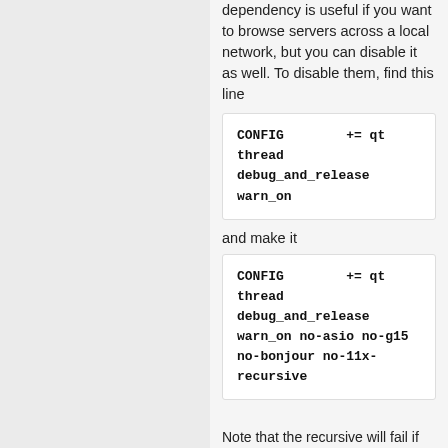dependency is useful if you want to browse servers across a local network, but you can disable it as well. To disable them, find this line
and make it
Note that the recursive will fail if